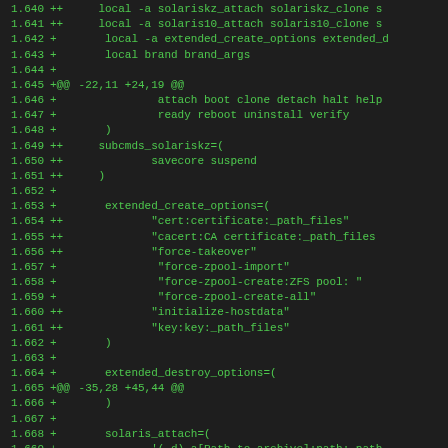Diff/patch code listing lines 1.640–1.672 showing shell script changes with + and ++ markers
[Figure (screenshot): Code diff showing shell script modifications with green text on dark background, line numbers 1.640-1.672, showing additions to zone management script including subcmds, extended_create_options, extended_destroy_options, and solaris_attach arrays]